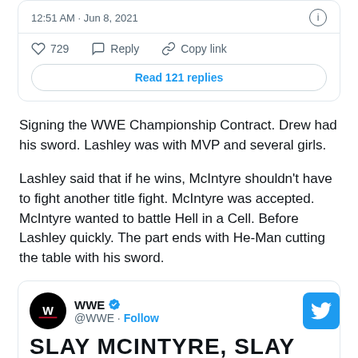[Figure (screenshot): Top of a Twitter/social media embedded tweet card showing timestamp '12:51 AM · Jun 8, 2021', an info icon, like count '729', Reply and Copy link actions, and a 'Read 121 replies' button.]
Signing the WWE Championship Contract. Drew had his sword. Lashley was with MVP and several girls.
Lashley said that if he wins, McIntyre shouldn’t have to fight another title fight. McIntyre was accepted. McIntyre wanted to battle Hell in a Cell. Before Lashley quickly. The part ends with He-Man cutting the table with his sword.
[Figure (screenshot): Bottom embedded tweet card from @WWE with verified badge, Follow link, Twitter bird icon, and large bold text 'SLAY MCINTYRE, SLAY']